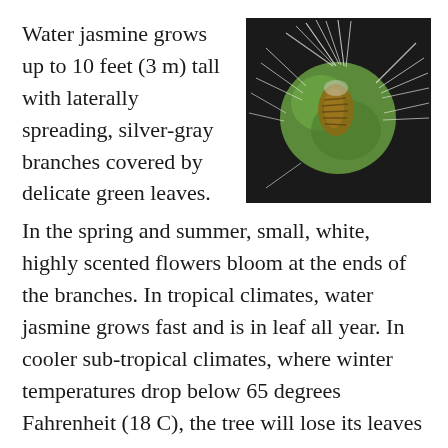Water jasmine grows up to 10 feet (3 m) tall with laterally spreading, silver-gray branches covered by delicate green leaves.
[Figure (photo): Close-up photograph of a water jasmine seed or fruit pod, green and round with feathery white fibers radiating outward, showing a brown insect or seed structure inside, on a dark background.]
In the spring and summer, small, white, highly scented flowers bloom at the ends of the branches. In tropical climates, water jasmine grows fast and is in leaf all year. In cooler sub-tropical climates, where winter temperatures drop below 65 degrees Fahrenheit (18 C), the tree will lose its leaves in the winter, becoming deciduous. Water jasmine can survive outdoors in areas where the minimum winter temperature does